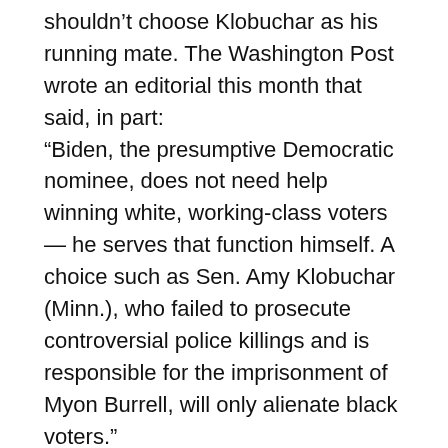shouldn't choose Klobuchar as his running mate. The Washington Post wrote an editorial this month that said, in part: “Biden, the presumptive Democratic nominee, does not need help winning white, working-class voters — he serves that function himself. A choice such as Sen. Amy Klobuchar (Minn.), who failed to prosecute controversial police killings and is responsible for the imprisonment of Myon Burrell, will only alienate black voters.” And as the co-founder of Black Voters Matter, LaTosha Brown, said about the Post’s opinions: “If it was important enough to raise in an op-ed, it speaks to how serious we are. [Klobuchar’s]